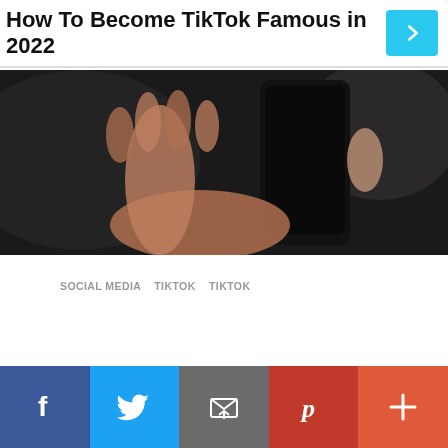How To Become TikTok Famous in 2022
[Figure (photo): A hand holding a smartphone against a dark background]
SOCIAL MEDIA   TIKTOK   TIKTOK
[Figure (infographic): Social media share bar with Facebook, Twitter, Email, Pinterest, and More buttons]